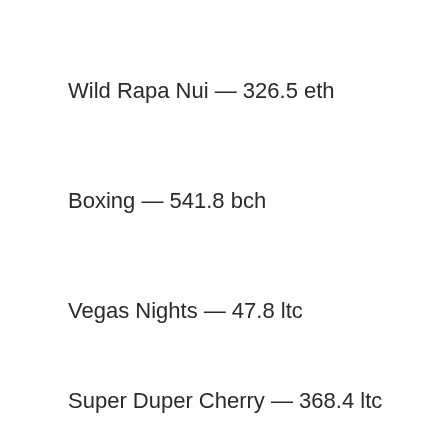Wild Rapa Nui — 326.5 eth
Boxing — 541.8 bch
Vegas Nights — 47.8 ltc
Super Duper Cherry — 368.4 ltc